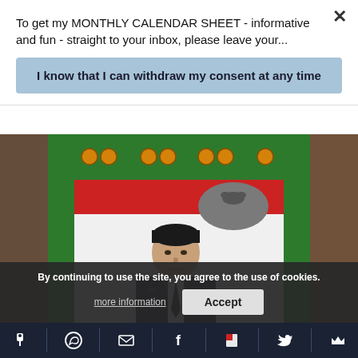To get my MONTHLY CALENDAR SHEET - informative and fun - straight to your inbox, please leave your...
I know that I can withdraw my consent at any time
[Figure (photo): A colorful carnival / fairground booth painted green with orange light bulbs along the top, featuring a painted figure of a man in a dark suit and tie on a white and red background. A gray speech bubble or hat shape appears above right of the figure.]
By continuing to use the site, you agree to the use of cookies.
more information
Accept